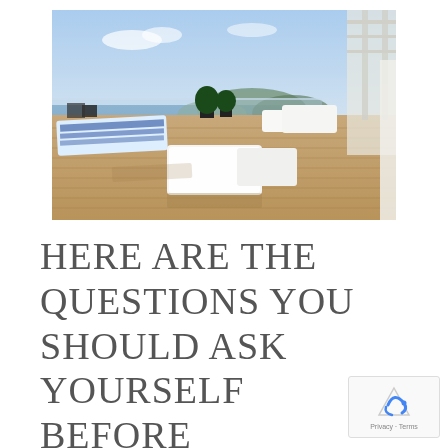[Figure (photo): Outdoor rooftop terrace or deck with white sun loungers and blue-striped cushions, white low tables, potted plants, glass railing with ocean/bay and hills in background under blue sky.]
HERE ARE THE QUESTIONS YOU SHOULD ASK YOURSELF BEFORE